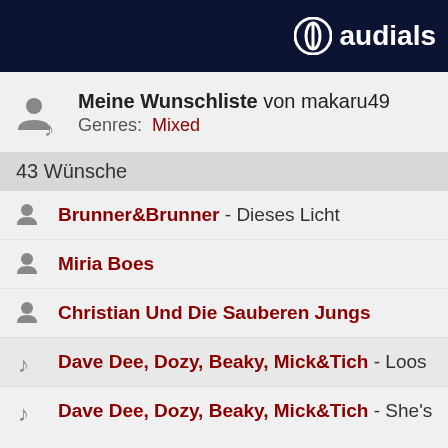audials
Meine Wunschliste von makaru49
Genres: Mixed
43 Wünsche
Brunner&Brunner - Dieses Licht
Miria Boes
Christian Und Die Sauberen Jungs
Dave Dee, Dozy, Beaky, Mick&Tich - Loos of Engl
Dave Dee, Dozy, Beaky, Mick&Tich - She's So Goo